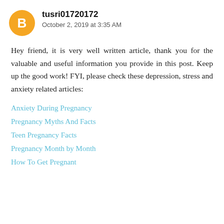tusri01720172
October 2, 2019 at 3:35 AM
Hey friend, it is very well written article, thank you for the valuable and useful information you provide in this post. Keep up the good work! FYI, please check these depression, stress and anxiety related articles:
Anxiety During Pregnancy
Pregnancy Myths And Facts
Teen Pregnancy Facts
Pregnancy Month by Month
How To Get Pregnant